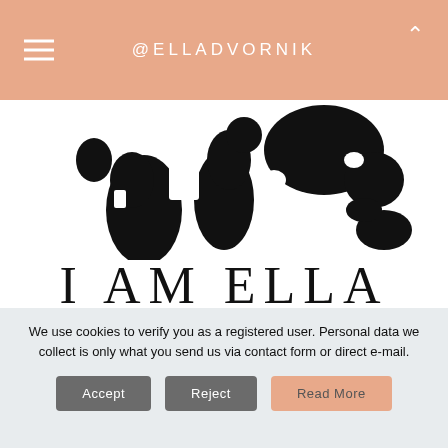@ELLADVORNIK
[Figure (map): Black and white world map silhouette, cropped to show upper portion, centered on the page]
I AM ELLA
HOME
CONTACT
We use cookies to verify you as a registered user. Personal data we collect is only what you send us via contact form or direct e-mail.